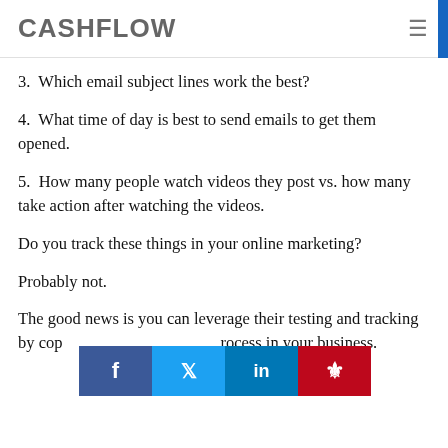CASHFLOW
3.  Which email subject lines work the best?
4.  What time of day is best to send emails to get them opened.
5.  How many people watch videos they post vs. how many take action after watching the videos.
Do you track these things in your online marketing?
Probably not.
The good news is you can leverage their testing and tracking by cop rocess in your business.
[Figure (other): Social sharing bar with Facebook, Twitter, LinkedIn, and Pinterest buttons]